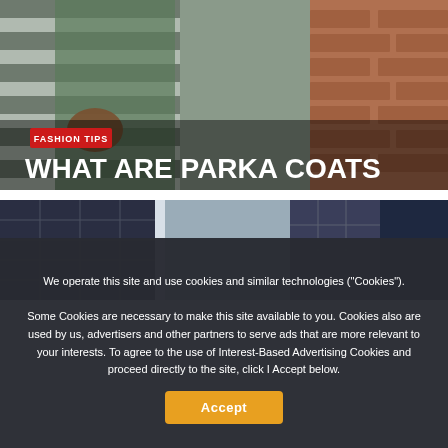[Figure (photo): Hero image showing a person in a green parka coat holding a brown bag, standing near striped railings and a brick wall. Overlay text shows 'FASHION TIPS' badge and title 'WHAT ARE PARKA COATS']
[Figure (photo): Second image showing people from the waist down, wearing dark patterned clothing, standing near large windows with an outdoor view]
We operate this site and use cookies and similar technologies ("Cookies"). Some Cookies are necessary to make this site available to you. Cookies also are used by us, advertisers and other partners to serve ads that are more relevant to your interests. To agree to the use of Interest-Based Advertising Cookies and proceed directly to the site, click I Accept below.
Accept